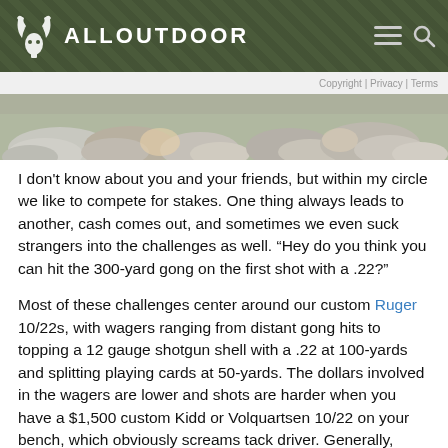ALLOUTDOOR
Copyright | Privacy | Terms
[Figure (photo): Partial view of rocks/stones and outdoor scene, cropped hero image at top of article]
I don't know about you and your friends, but within my circle we like to compete for stakes. One thing always leads to another, cash comes out, and sometimes we even suck strangers into the challenges as well. “Hey do you think you can hit the 300-yard gong on the first shot with a .22?”
Most of these challenges center around our custom Ruger 10/22s, with wagers ranging from distant gong hits to topping a 12 gauge shotgun shell with a .22 at 100-yards and splitting playing cards at 50-yards. The dollars involved in the wagers are lower and shots are harder when you have a $1,500 custom Kidd or Volquartsen 10/22 on your bench, which obviously screams tack driver. Generally, agreements on a wager